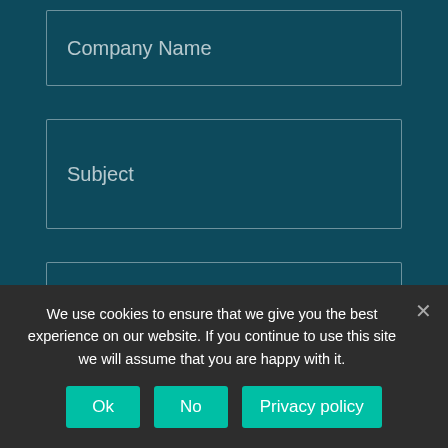Company Name
Subject
Message
We use cookies to ensure that we give you the best experience on our website. If you continue to use this site we will assume that you are happy with it.
Ok
No
Privacy policy